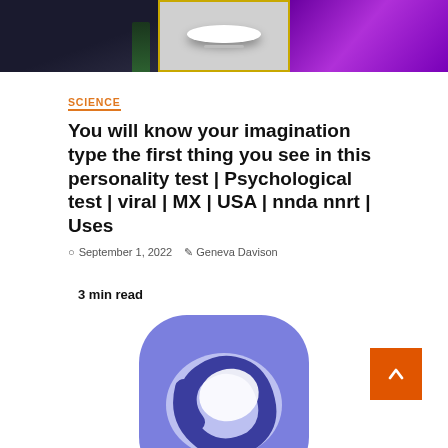[Figure (photo): Three-panel hero image: left panel dark background with partial green leaf, center panel black-and-white photo of a bowl/cup on a surface with yellow border, right panel purple/violet gradient background]
SCIENCE
You will know your imagination type the first thing you see in this personality test | Psychological test | viral | MX | USA | nnda nnrt | Uses
September 1, 2022   Geneva Davison
3 min read
[Figure (logo): Purple/blue rounded square app icon with a stylized letter C or orbit ring shape in darker blue on lighter blue/purple background]
[Figure (other): Orange back-to-top button with upward chevron arrow]